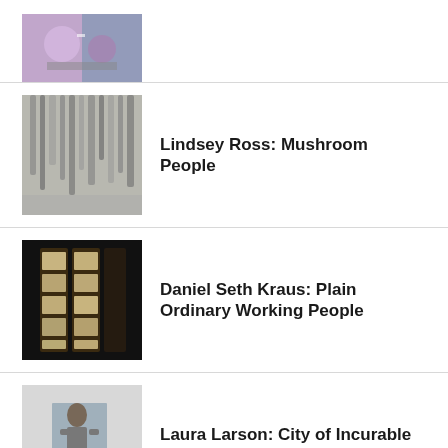[Figure (photo): Partial thumbnail of colorful image, top of page, cropped]
[Figure (photo): Black and white photo of hanging icicle-like forms or stalactites, thumbnail for Lindsey Ross Mushroom People listing]
Lindsey Ross: Mushroom People
[Figure (photo): Dark photo of photo booth strip style portraits in frames, thumbnail for Daniel Seth Kraus listing]
Daniel Seth Kraus: Plain Ordinary Working People
[Figure (photo): Photo of a person leaning against a wall with a large sheet or canvas, thumbnail for Laura Larson listing]
Laura Larson: City of Incurable Women